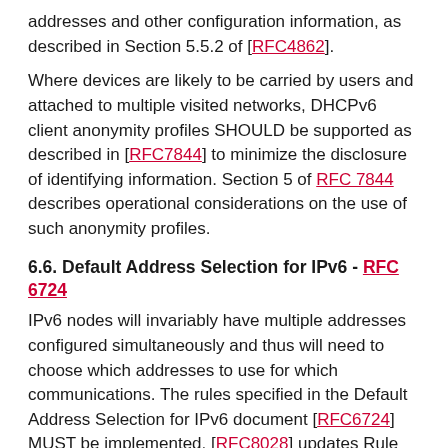addresses and other configuration information, as described in Section 5.5.2 of [RFC4862].
Where devices are likely to be carried by users and attached to multiple visited networks, DHCPv6 client anonymity profiles SHOULD be supported as described in [RFC7844] to minimize the disclosure of identifying information. Section 5 of RFC 7844 describes operational considerations on the use of such anonymity profiles.
6.6. Default Address Selection for IPv6 - RFC 6724
IPv6 nodes will invariably have multiple addresses configured simultaneously and thus will need to choose which addresses to use for which communications. The rules specified in the Default Address Selection for IPv6 document [RFC6724] MUST be implemented. [RFC8028] updates Rule 5.5 from [RFC6724]; implementations SHOULD implement this rule.
7. DNS